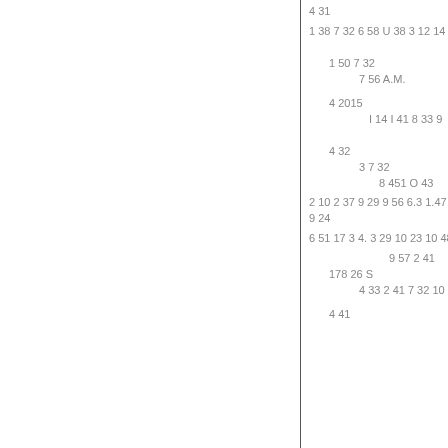4 31
1 38 7 32 6 58 U 38 3 12 14
1 50 7 32
7 56 A.M.
4 2015
I 14 I 41 8 33 9
4 32
3 7 32
8 451 O 43
2 10 2 37 9 29 9 56 6.3 1.47
9 24
6 51 17 3 4. 3 29 10 23 10 48
9 57 2 41
178 26 S
4 33 2 41 7 32 10 2
4 41